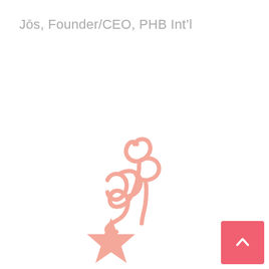Jōs, Founder/CEO, PHB Int'l
[Figure (illustration): Cursive/script handwritten signature in salmon/peach color reading 'phb' or similar stylized initials]
[Figure (illustration): A salmon/peach colored star icon]
[Figure (illustration): Back to top button - salmon pink square with white upward chevron arrow]